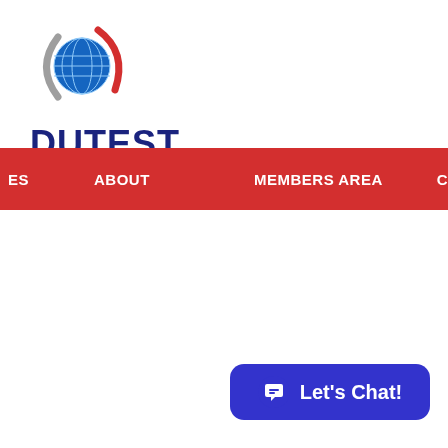[Figure (logo): DUTEST logo — a globe with grid lines in blue, flanked by a grey arc on the left and a red arc on the right, with the word DUTEST in dark navy bold text below]
ES    ABOUT    MEMBERS AREA    C
[Figure (other): Let's Chat! button — a rounded rectangle with blue background (#3333cc), a white speech bubble icon on the left, and the text 'Let's Chat!' in white bold on the right]